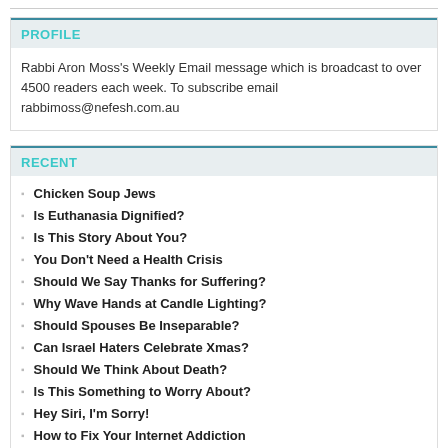PROFILE
Rabbi Aron Moss's Weekly Email message which is broadcast to over 4500 readers each week. To subscribe email rabbimoss@nefesh.com.au
RECENT
Chicken Soup Jews
Is Euthanasia Dignified?
Is This Story About You?
You Don't Need a Health Crisis
Should We Say Thanks for Suffering?
Why Wave Hands at Candle Lighting?
Should Spouses Be Inseparable?
Can Israel Haters Celebrate Xmas?
Should We Think About Death?
Is This Something to Worry About?
Hey Siri, I'm Sorry!
How to Fix Your Internet Addiction
My Relationship Is Over